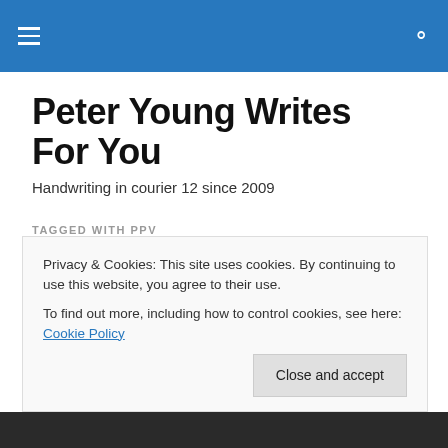Peter Young Writes For You
Handwriting in courier 12 since 2009
TAGGED WITH PPV
WWE Network – even more reason for wrestling nerds to
Privacy & Cookies: This site uses cookies. By continuing to use this website, you agree to their use.
To find out more, including how to control cookies, see here: Cookie Policy
Close and accept